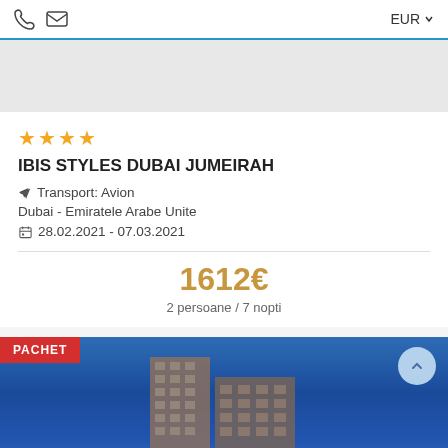EUR
[Figure (screenshot): Gray placeholder area representing a hotel image not loaded]
★★★★ IBIS STYLES DUBAI JUMEIRAH
✈ Transport: Avion
Dubai - Emiratele Arabe Unite
📅 28.02.2021 - 07.03.2021
1612€
2 persoane / 7 nopti
[Figure (photo): Hotel building against blue sky with PACHET badge overlay]